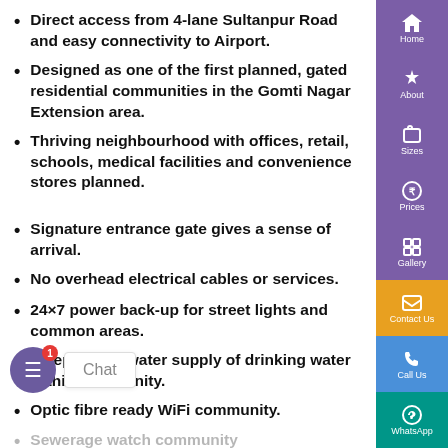Direct access from 4-lane Sultanpur Road and easy connectivity to Airport.
Designed as one of the first planned, gated residential communities in the Gomti Nagar Extension area.
Thriving neighbourhood with offices, retail, schools, medical facilities and convenience stores planned.
Signature entrance gate gives a sense of arrival.
No overhead electrical cables or services.
24×7 power back-up for street lights and common areas.
Independent water supply of drinking water within community.
Optic fibre ready WiFi community.
Sewerage watch community
Environment-friendly rainwater harvesting system within the project.